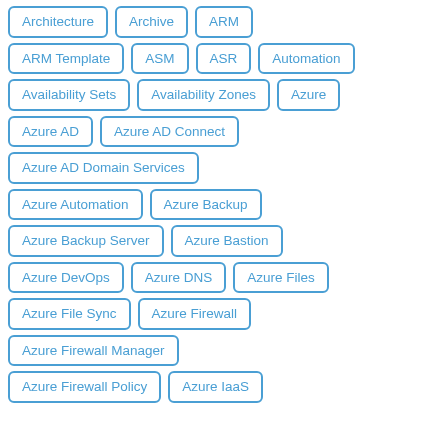Architecture
Archive
ARM
ARM Template
ASM
ASR
Automation
Availability Sets
Availability Zones
Azure
Azure AD
Azure AD Connect
Azure AD Domain Services
Azure Automation
Azure Backup
Azure Backup Server
Azure Bastion
Azure DevOps
Azure DNS
Azure Files
Azure File Sync
Azure Firewall
Azure Firewall Manager
Azure Firewall Policy
Azure IaaS